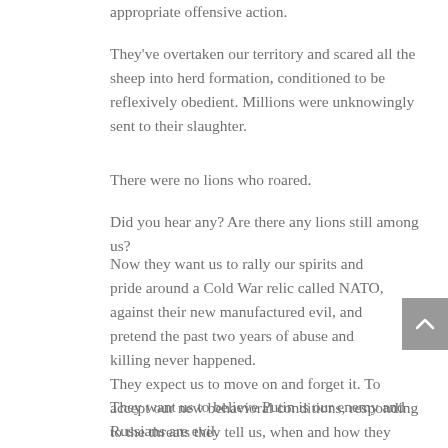appropriate offensive action.
They've overtaken our territory and scared all the sheep into herd formation, conditioned to be reflexively obedient. Millions were unknowingly sent to their slaughter.
There were no lions who roared.
Did you hear any? Are there any lions still among us?
Now they want us to rally our spirits and pride around a Cold War relic called NATO, against their new manufactured evil, and pretend the past two years of abuse and killing never happened.
They expect us to move on and forget it. To accept our new behavioral conditions, responding to the threats they tell us, when and how they want.
They want us to believe Putin is our enemy and Russians are evil.